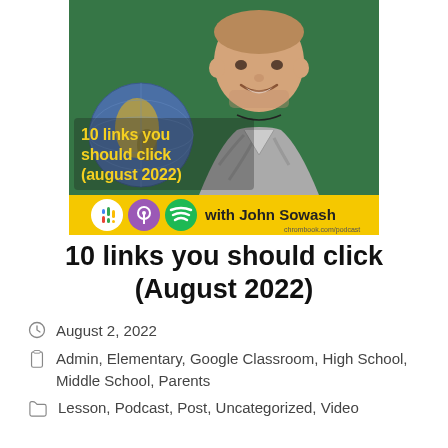[Figure (photo): Podcast thumbnail showing a smiling man in a grey striped shirt in a classroom with a globe and green chalkboard. Yellow text overlay reads '10 links you should click (august 2022)'. Yellow banner at bottom shows Google Podcasts, Apple Podcasts, Spotify icons and text 'with John Sowash' and 'chrombook.com/podcast']
10 links you should click (August 2022)
August 2, 2022
Admin, Elementary, Google Classroom, High School, Middle School, Parents
Lesson, Podcast, Post, Uncategorized, Video